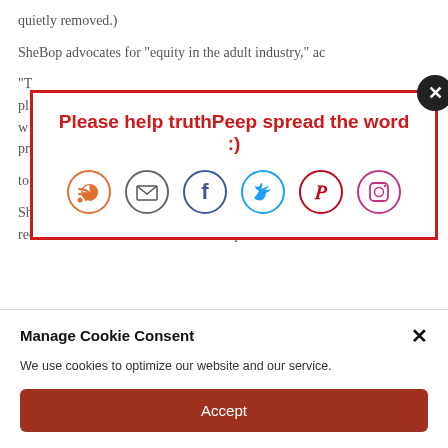quietly removed.)
SheBop advocates for "equity in the adult industry," ac...
"T... pl... w... prod...
to equity than dildo skin tones."
[Figure (infographic): Social share popup with red border. Title: 'Please help truthPeep spread the word :)' with social media icons: RSS (orange), Email (gray), Facebook (blue), Twitter (cyan), Pinterest (red), Instagram (purple). Close button (X) in top-right corner.]
SheBop is officially only open to adults, but Doernbecher recommended children contact the shop outside of
Manage Cookie Consent
We use cookies to optimize our website and our service.
Accept